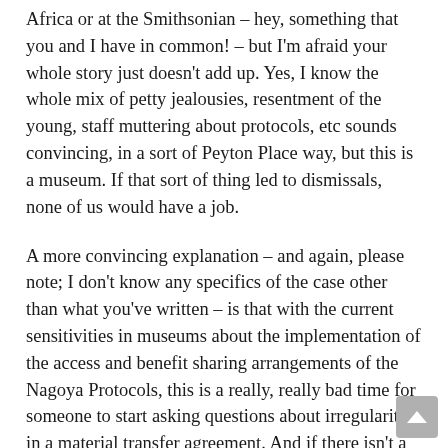Africa or at the Smithsonian – hey, something that you and I have in common! – but I'm afraid your whole story just doesn't add up. Yes, I know the whole mix of petty jealousies, resentment of the young, staff muttering about protocols, etc sounds convincing, in a sort of Peyton Place way, but this is a museum. If that sort of thing led to dismissals, none of us would have a job.
A more convincing explanation – and again, please note; I don't know any specifics of the case other than what you've written – is that with the current sensitivities in museums about the implementation of the access and benefit sharing arrangements of the Nagoya Protocols, this is a really, really bad time for someone to start asking questions about irregularities in a material transfer agreement. And if there isn't a good answer for those questions, someone could lose their job.
But as I said, what do I know? My sole concern in commenting was based on your decision to name names. Bad enough that Kris is the